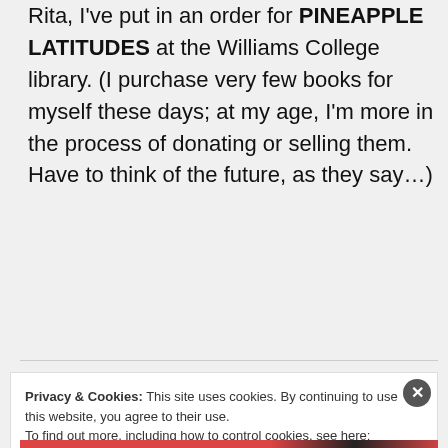Rita, I've put in an order for PINEAPPLE LATITUDES at the Williams College library. (I purchase very few books for myself these days; at my age, I'm more in the process of donating or selling them. Have to think of the future, as they say…)
↵ Reply
Privacy & Cookies: This site uses cookies. By continuing to use this website, you agree to their use.
To find out more, including how to control cookies, see here: Cookie Policy
Close and accept